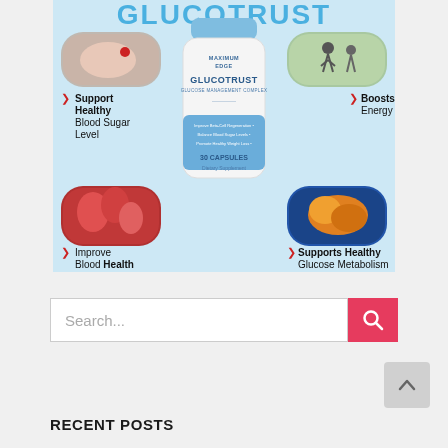[Figure (infographic): GlucoTrust supplement product infographic showing a white bottle labeled 'MAXIMUM EDGE GLUCOTRUST Glucose Management Complex 30 Capsules Dietary Supplement' centered on a blue background with the brand name GLUCOTRUST in large blue letters at top. Four corner images: top-left shows a finger blood sugar test, top-right shows runners, bottom-left shows red blood cells, bottom-right shows a liver illustration. Text callouts: Support Healthy Blood Sugar Level (left), Boosts Energy (right), Improve Blood Health (bottom-left), Supports Healthy Glucose Metabolism (bottom-right).]
Search...
RECENT POSTS